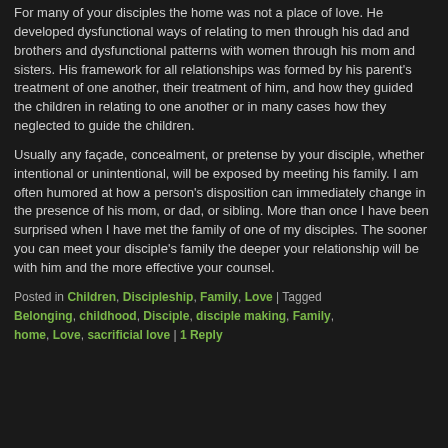For many of your disciples the home was not a place of love. He developed dysfunctional ways of relating to men through his dad and brothers and dysfunctional patterns with women through his mom and sisters. His framework for all relationships was formed by his parent's treatment of one another, their treatment of him, and how they guided the children in relating to one another or in many cases how they neglected to guide the children.
Usually any façade, concealment, or pretense by your disciple, whether intentional or unintentional, will be exposed by meeting his family. I am often humored at how a person's disposition can immediately change in the presence of his mom, or dad, or sibling. More than once I have been surprised when I have met the family of one of my disciples. The sooner you can meet your disciple's family the deeper your relationship will be with him and the more effective your counsel.
Posted in Children, Discipleship, Family, Love | Tagged Belonging, childhood, Disciple, disciple making, Family, home, Love, sacrificial love | 1 Reply